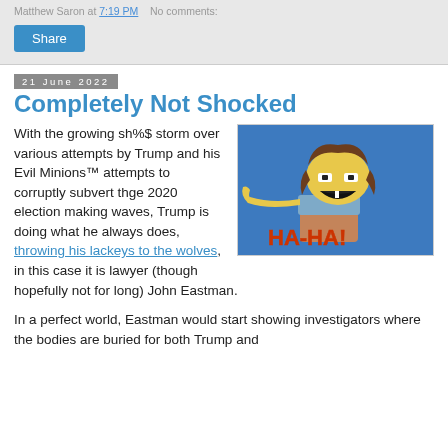Matthew Saron at 7:19 PM   No comments:
Share
21 June 2022
Completely Not Shocked
[Figure (illustration): Nelson Muntz from The Simpsons pointing and saying HA-HA!]
With the growing sh%$ storm over various attempts by Trump and his Evil Minions™ attempts to corruptly subvert thge 2020 election making waves, Trump is doing what he always does, throwing his lackeys to the wolves, in this case it is lawyer (though hopefully not for long) John Eastman.
In a perfect world, Eastman would start showing investigators where the bodies are buried for both Trump and